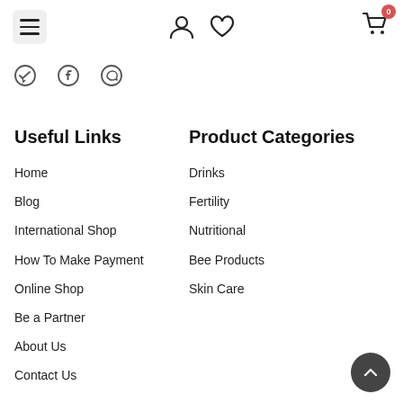[Figure (screenshot): Navigation bar with hamburger menu, user/heart icons, and shopping cart with badge showing 0]
[Figure (illustration): Social media icons: Telegram, Facebook, WhatsApp]
Useful Links
Home
Blog
International Shop
How To Make Payment
Online Shop
Be a Partner
About Us
Contact Us
Product Categories
Drinks
Fertility
Nutritional
Bee Products
Skin Care